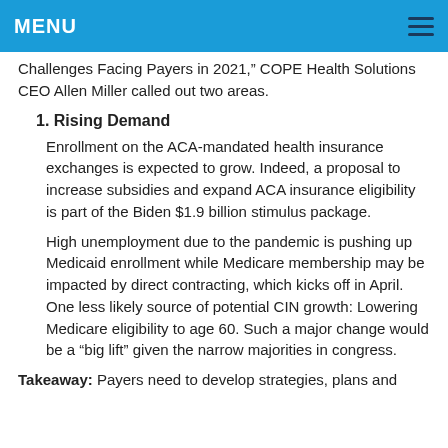MENU
Challenges Facing Payers in 2021," COPE Health Solutions CEO Allen Miller called out two areas.
1. Rising Demand
Enrollment on the ACA-mandated health insurance exchanges is expected to grow. Indeed, a proposal to increase subsidies and expand ACA insurance eligibility is part of the Biden $1.9 billion stimulus package.
High unemployment due to the pandemic is pushing up Medicaid enrollment while Medicare membership may be impacted by direct contracting, which kicks off in April. One less likely source of potential CIN growth: Lowering Medicare eligibility to age 60. Such a major change would be a "big lift" given the narrow majorities in congress.
Takeaway: Payers need to develop strategies, plans and